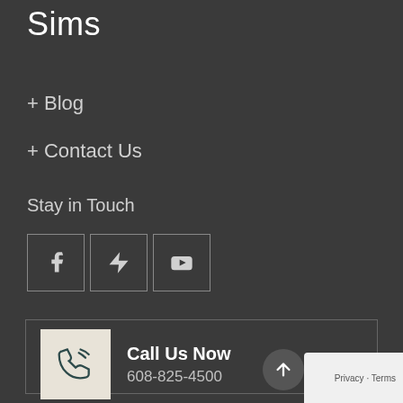Sims
+ Blog
+ Contact Us
Stay in Touch
[Figure (other): Three social media icon boxes: Facebook (f), Houzz (lightning bolt), YouTube (play button)]
Call Us Now
608-825-4500
Office Location
221 Business Park Circle, Stoughton, WI 53589